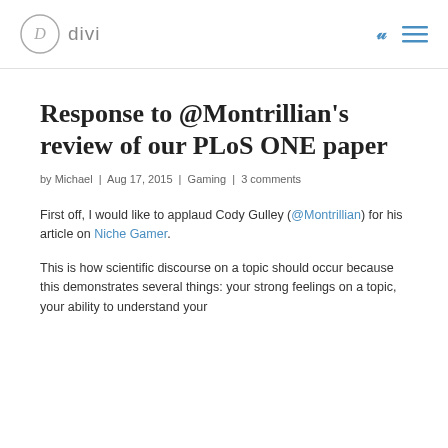divi
Response to @Montrillian's review of our PLoS ONE paper
by Michael | Aug 17, 2015 | Gaming | 3 comments
First off, I would like to applaud Cody Gulley (@Montrillian) for his article on Niche Gamer.
This is how scientific discourse on a topic should occur because this demonstrates several things: your strong feelings on a topic, your ability to understand your